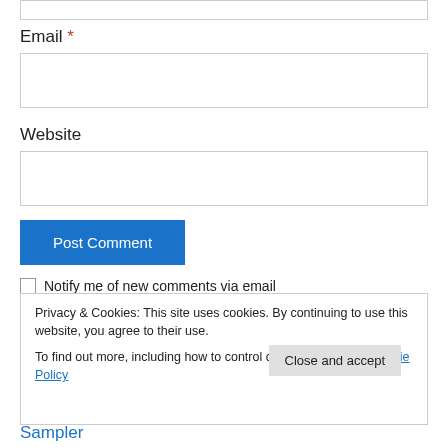Email *
Website
Post Comment
Notify me of new comments via email
Privacy & Cookies: This site uses cookies. By continuing to use this website, you agree to their use.
To find out more, including how to control cookies, see here: Cookie Policy
Close and accept
Sampler